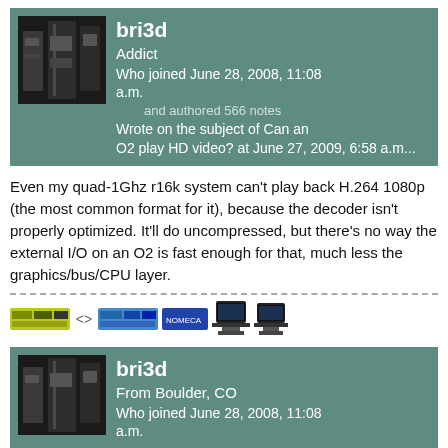[Figure (infographic): User profile card with avatar photo (dark computer equipment), username bri3d, role Addict, join date June 28 2008 11:08 a.m., 566 notes, wrote on subject of Can an O2 play HD video? at June 27 2009 6:58 a.m.]
Even my quad-1Ghz r16k system can't play back H.264 1080p (the most common format for it), because the decoder isn't properly optimized. It'll do uncompressed, but there's no way the external I/O on an O2 is fast enough for that, much less the graphics/bus/CPU layer.
[Figure (infographic): Signature area with small colored badges/icons representing hardware systems and two monitor icons]
[Figure (infographic): Second user profile card with avatar photo (dark computer equipment), username bri3d, From Boulder CO, Who joined June 28 2008 11:08 a.m.]